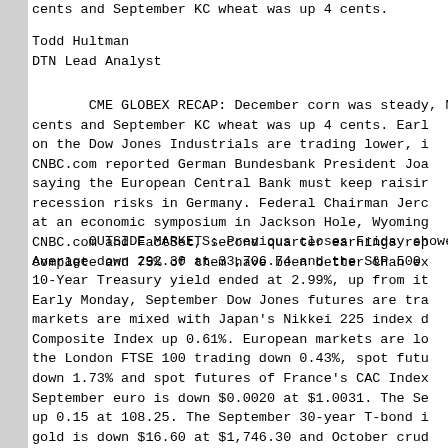cents and September KC wheat was up 4 cents.
Todd Hultman
DTN Lead Analyst
CME GLOBEX RECAP: December corn was steady, No cents and September KC wheat was up 4 cents. Earl on the Dow Jones Industrials are trading lower, i CNBC.com reported German Bundesbank President Joa saying the European Central Bank must keep raisir recession risks in Germany. Federal Chairman Jer at an economic symposium in Jackson Hole, Wyomin CNBC.com and FactSet, second quarter earnings re complete and 75% of them have been better than e
OUTSIDE MARKETS: Previous closes Friday showe Average down 292.30 at 33,706.74 and the S&P 500 10-Year Treasury yield ended at 2.99%, up from it Early Monday, September Dow Jones futures are tr markets are mixed with Japan's Nikkei 225 index Composite Index up 0.61%. European markets are l the London FTSE 100 trading down 0.43%, spot fut down 1.73% and spot futures of France's CAC Inde September euro is down $0.0020 at $1.0031. The up 0.15 at 108.25. The September 30-year T-bond gold is down $16.60 at $1,746.30 and October cr On China's Dalian exchange, January corn was u were up 0.9%, January soybean meal was up 0.5% 1.4%. November Malaysian palm oil is trading u